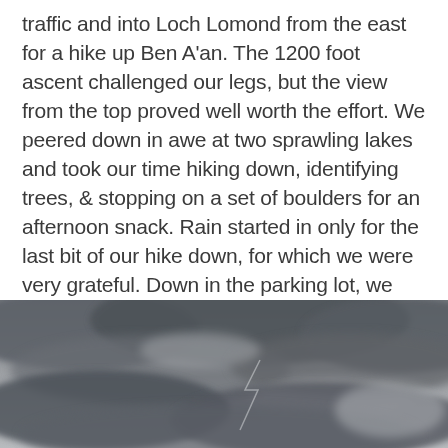traffic and into Loch Lomond from the east for a hike up Ben A'an. The 1200 foot ascent challenged our legs, but the view from the top proved well worth the effort. We peered down in awe at two sprawling lakes and took our time hiking down, identifying trees, & stopping on a set of boulders for an afternoon snack. Rain started in only for the last bit of our hike down, for which we were very grateful. Down in the parking lot, we fired up the butane stove & made spicy ramen for dinner before finding our camp spot for the night.
[Figure (photo): A photograph of a dramatic overcast sky with dark grey storm clouds, viewed from above or at mid-level, with lighter patches visible through breaks in the clouds.]